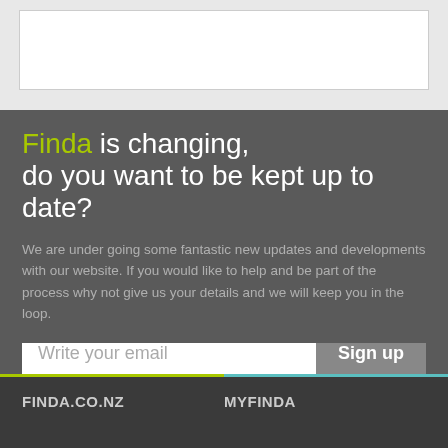[Figure (screenshot): White box on light gray background representing top of web page]
Finda is changing, do you want to be kept up to date?
We are under going some fantastic new updates and developments with our website. If you would like to help and be part of the process why not give us your details and we will keep you in the loop.
Write your email | Sign up
I agree to Finda's Terms Of Use and Privacy Policy
FINDA.CO.NZ   MYFINDA